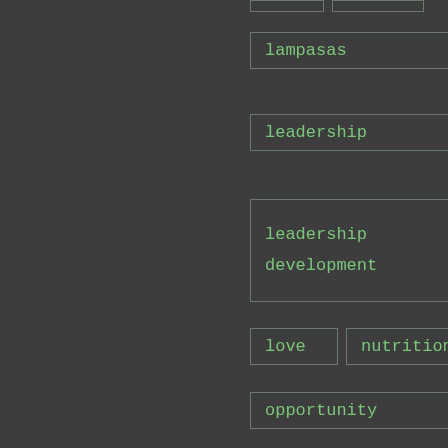lampasas
leadership
leadership development
love
nutrition
opportunity
personal development
personal growth
purpose
strive
success
supplements
transformation